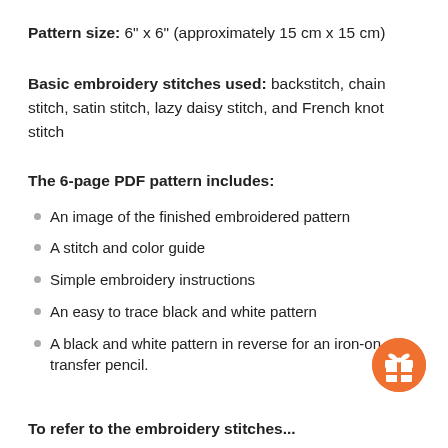Pattern size: 6" x 6" (approximately 15 cm x 15 cm)
Basic embroidery stitches used: backstitch, chain stitch, satin stitch, lazy daisy stitch, and French knot stitch
The 6-page PDF pattern includes:
An image of the finished embroidered pattern
A stitch and color guide
Simple embroidery instructions
An easy to trace black and white pattern
A black and white pattern in reverse for an iron-on transfer pencil.
[Figure (illustration): Orange circular button/badge icon with a gift box symbol]
To refer to the embroidery stitches...